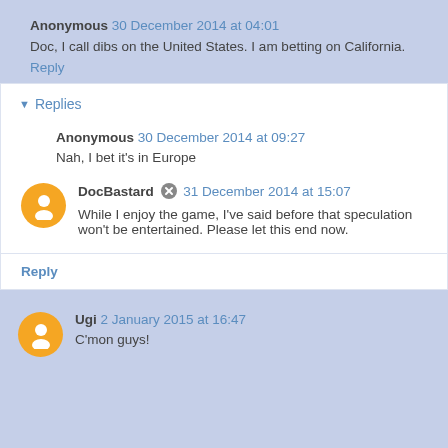Anonymous 30 December 2014 at 04:01
Doc, I call dibs on the United States. I am betting on California.
Reply
Replies
Anonymous 30 December 2014 at 09:27
Nah, I bet it's in Europe
DocBastard 31 December 2014 at 15:07
While I enjoy the game, I've said before that speculation won't be entertained. Please let this end now.
Reply
Ugi 2 January 2015 at 16:47
C'mon guys!